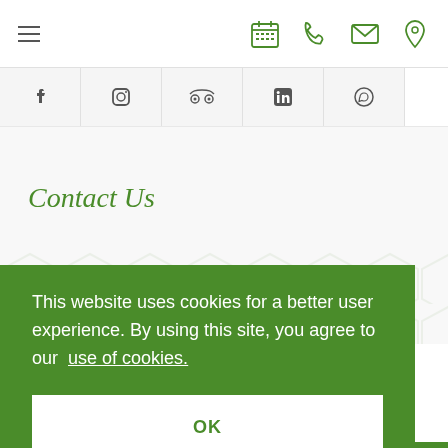Navigation bar with hamburger menu and icons (calendar, phone, mail, location)
[Figure (screenshot): Social media icons row: Facebook, Instagram, Tripadvisor, LinkedIn, WhatsApp]
Contact Us
This website uses cookies for a better user experience. By using this site, you agree to our use of cookies.
OK